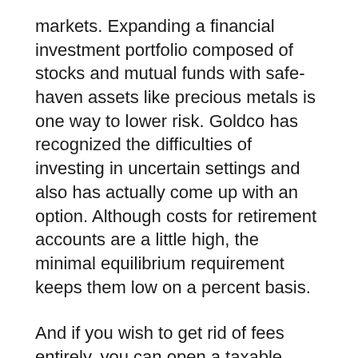markets. Expanding a financial investment portfolio composed of stocks and mutual funds with safe-haven assets like precious metals is one way to lower risk. Goldco has recognized the difficulties of investing in uncertain settings and also has actually come up with an option. Although costs for retirement accounts are a little high, the minimal equilibrium requirement keeps them low on a percent basis.
And if you wish to get rid of fees entirely, you can open a taxable account. Nevertheless you wish to protect your monetary future, Goldco has alternatives for you. Possibly the most effective service Goldco offers is peace of mind.